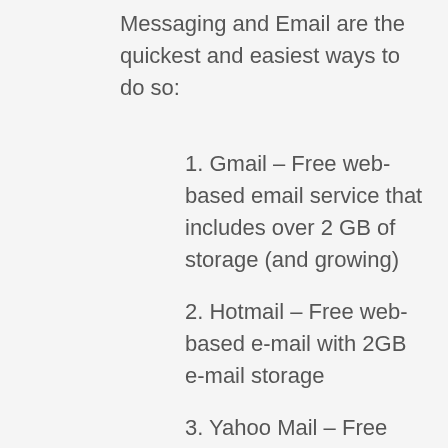Messaging and Email are the quickest and easiest ways to do so:
1. Gmail – Free web-based email service that includes over 2 GB of storage (and growing)
2. Hotmail – Free web-based e-mail with 2GB e-mail storage
3. Yahoo Mail – Free web-